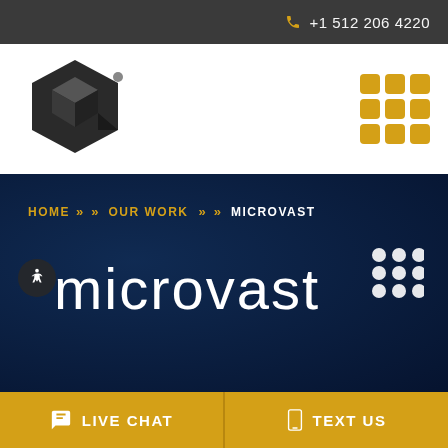+1 512 206 4220
[Figure (logo): 3D hexagon logo mark in dark grey/black with a small dot]
[Figure (other): 3x3 grid of rounded golden squares used as menu icon]
[Figure (other): Hero banner with dark navy blue background showing breadcrumb navigation and Microvast white logo text with dot pattern icon]
HOME >> OUR WORK >> MICROVAST
microvast
LIVE CHAT  TEXT US